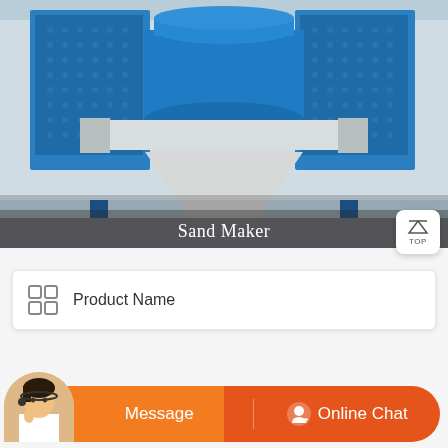[Figure (photo): Large blue industrial sand maker machine with cylindrical top unit, white base frame, and blue support structure, photographed outdoors on a concrete surface. Text overlay 'Sand Maker' in white at the bottom.]
Sand Maker
Product Name
Message
Online Chat